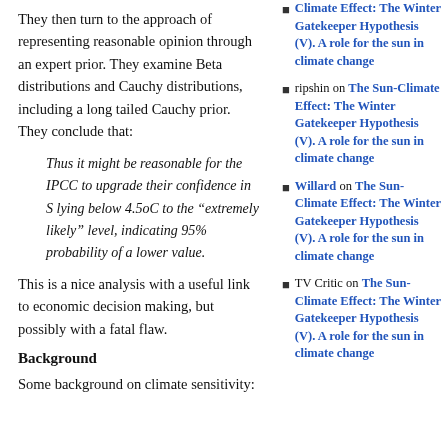They then turn to the approach of representing reasonable opinion through an expert prior. They examine Beta distributions and Cauchy distributions, including a long tailed Cauchy prior. They conclude that:
Thus it might be reasonable for the IPCC to upgrade their confidence in S lying below 4.5oC to the "extremely likely" level, indicating 95% probability of a lower value.
This is a nice analysis with a useful link to economic decision making, but possibly with a fatal flaw.
Background
Some background on climate sensitivity:
ripshin on The Sun-Climate Effect: The Winter Gatekeeper Hypothesis (V). A role for the sun in climate change
ripshin on The Sun-Climate Effect: The Winter Gatekeeper Hypothesis (V). A role for the sun in climate change
Willard on The Sun-Climate Effect: The Winter Gatekeeper Hypothesis (V). A role for the sun in climate change
TV Critic on The Sun-Climate Effect: The Winter Gatekeeper Hypothesis (V). A role for the sun in climate change